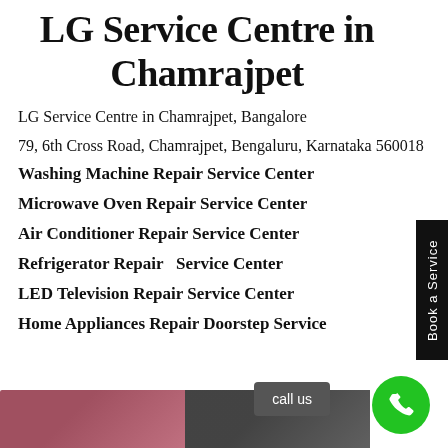LG Service Centre in Chamrajpet
LG Service Centre in Chamrajpet, Bangalore
79, 6th Cross Road, Chamrajpet, Bengaluru, Karnataka 560018
Washing Machine Repair Service Center
Microwave Oven Repair Service Center
Air Conditioner Repair Service Center
Refrigerator Repair  Service Center
LED Television Repair Service Center
Home Appliances Repair Doorstep Service
[Figure (photo): Two product/appliance images at bottom of page]
call us